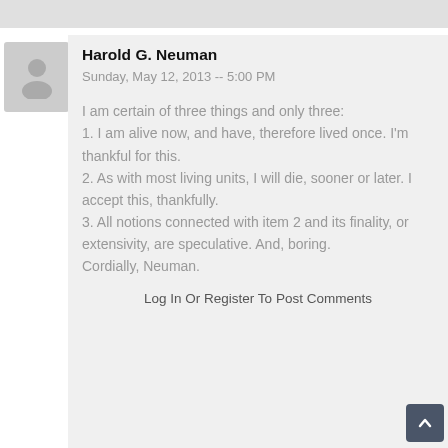Harold G. Neuman
Sunday, May 12, 2013 -- 5:00 PM
I am certain of three things and only three:
1. I am alive now, and have, therefore lived once. I'm thankful for this.
2. As with most living units, I will die, sooner or later. I accept this, thankfully.
3. All notions connected with item 2 and its finality, or extensivity, are speculative. And, boring.
Cordially, Neuman.
Log In Or Register To Post Comments